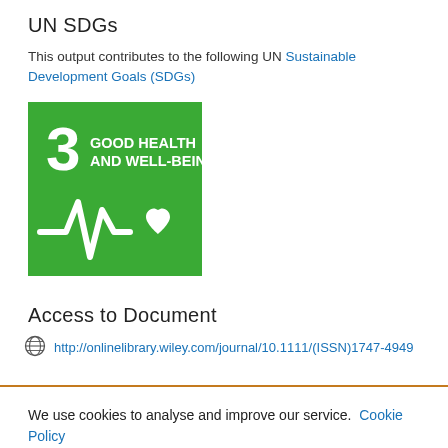UN SDGs
This output contributes to the following UN Sustainable Development Goals (SDGs)
[Figure (logo): UN SDG Goal 3: Good Health and Well-Being badge — green square with number 3, text 'GOOD HEALTH AND WELL-BEING', and a white heartbeat/ECG line with heart icon]
Access to Document
http://onlinelibrary.wiley.com/journal/10.1111/(ISSN)1747-4949
We use cookies to analyse and improve our service. Cookie Policy
Cookies Settings
Accept All Cookies